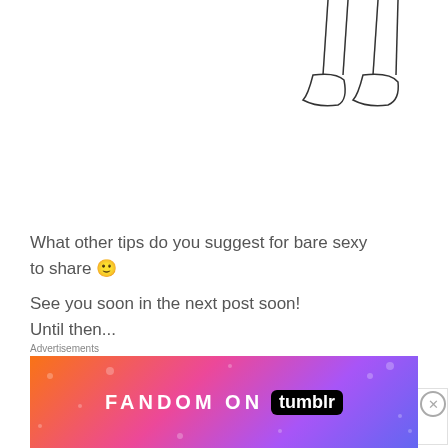[Figure (illustration): Line drawing of lower legs and feet wearing sneakers/shoes, viewed from the front]
What other tips do you suggest for bare sexy to share 🙂
See you soon in the next post soon!
Until then...
Advertisements
[Figure (logo): P2 advertisement box showing black square icon with H and P2 text]
Advertisements
[Figure (illustration): Fandom on Tumblr colorful advertisement banner with gradient orange to purple background and decorative pattern]